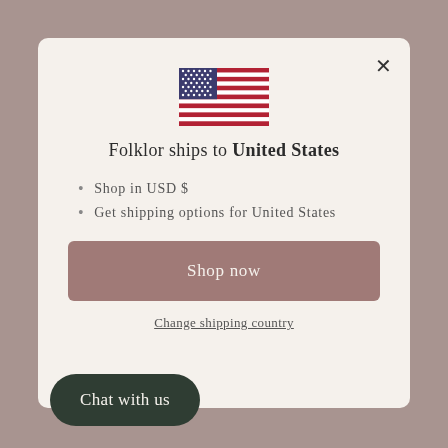[Figure (illustration): US flag SVG illustration centered at top of modal]
Folklor ships to United States
Shop in USD $
Get shipping options for United States
Shop now
Change shipping country
Chat with us